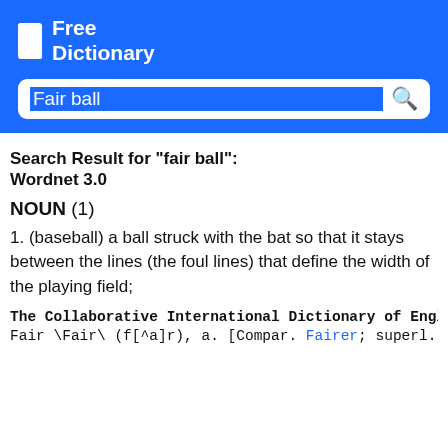Free Dictionary
Fair ball
Search Result for "fair ball":
Wordnet 3.0
NOUN (1)
1. (baseball) a ball struck with the bat so that it stays between the lines (the foul lines) that define the width of the playing field;
The Collaborative International Dictionary of English
Fair \Fair\ (f[^a]r), a. [Compar. Fairer; superl. Fai